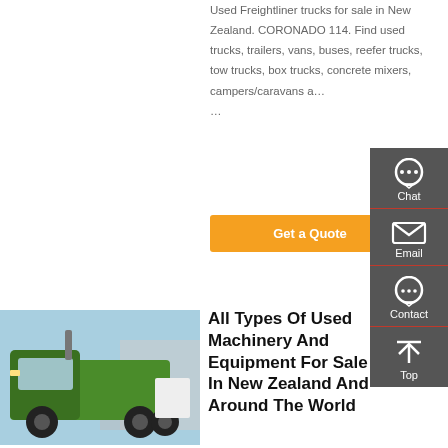Used Freightliner trucks for sale in New Zealand. CORONADO 114. Find used trucks, trailers, vans, buses, reefer trucks, tow trucks, box trucks, concrete mixers, campers/caravans a… …
[Figure (other): Orange 'Get a Quote' button]
[Figure (photo): Green heavy-duty truck (SINOTRUK HOWO) parked outdoors]
All Types Of Used Machinery And Equipment For Sale In New Zealand And Around The World
[Figure (infographic): Sidebar with Chat, Email, Contact, and Top navigation icons on dark grey background]